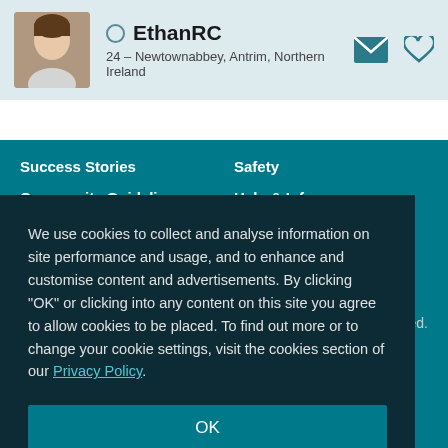EthanRC
24 – Newtownabbey, Antrim, Northern Ireland
Success Stories
Safety
Community Guidelines
Help & Info
We use cookies to collect and analyse information on site performance and usage, and to enhance and customise content and advertisements. By clicking "OK" or clicking into any content on this site you agree to allow cookies to be placed. To find out more or to change your cookie settings, visit the cookies section of our Privacy Policy.
OK